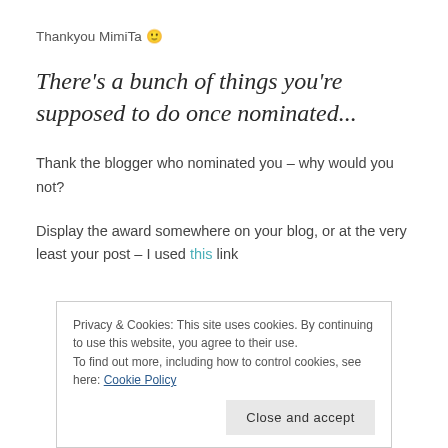Thankyou MimiTa 🙂
There's a bunch of things you're supposed to do once nominated...
Thank the blogger who nominated you – why would you not?
Display the award somewhere on your blog, or at the very least your post – I used this link
Privacy & Cookies: This site uses cookies. By continuing to use this website, you agree to their use.
To find out more, including how to control cookies, see here: Cookie Policy
Close and accept